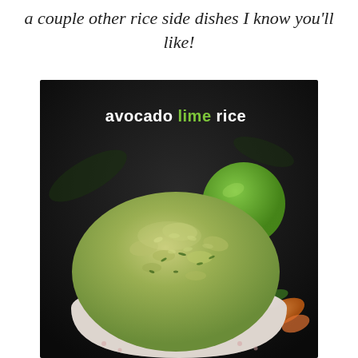a couple other rice side dishes I know you'll like!
[Figure (photo): A bowl of avocado lime rice, green and chunky, served in a white bowl, with a lime and orange garnish in the background. Dark background. Text overlay reads 'avocado lime rice' with 'lime' in green.]